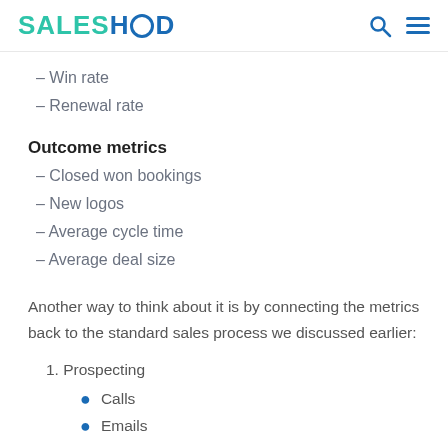SALESHOOD
– Win rate
– Renewal rate
Outcome metrics
– Closed won bookings
– New logos
– Average cycle time
– Average deal size
Another way to think about it is by connecting the metrics back to the standard sales process we discussed earlier:
1. Prospecting
Calls
Emails